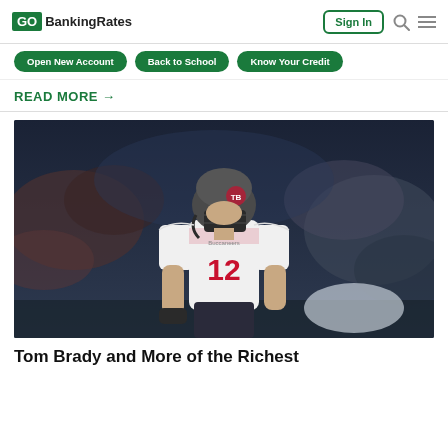GOBankingRates | Sign In
Open New Account | Back to School | Know Your Credit
READ MORE →
[Figure (photo): Tom Brady wearing Tampa Bay Buccaneers #12 jersey and helmet on the football field]
Tom Brady and More of the Richest